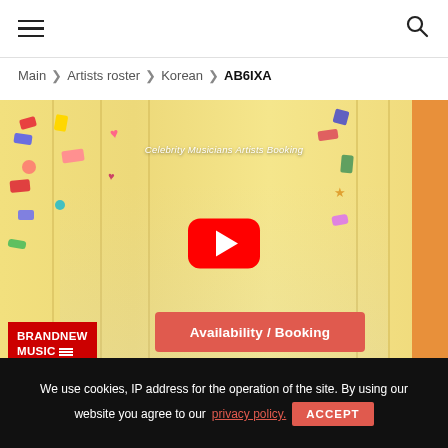≡  [hamburger menu]  [search icon]
Main > Artists roster > Korean > AB6IXA
[Figure (screenshot): YouTube video thumbnail showing AB6IXA K-pop group (4 members in school uniforms) sitting in front of yellow lockers, with a red YouTube play button overlaid in the center and 'Celebrity Musicians Artists Booking' text. Bottom-left shows 'BRANDNEW MUSIC OFFICIAL' logo in red. Bottom-center shows red 'Availability / Booking' button.]
We use cookies, IP address for the operation of the site. By using our website you agree to our privacy policy. ACCEPT